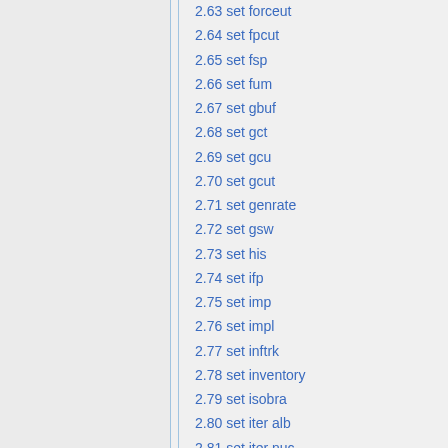2.63 set forceut
2.64 set fpcut
2.65 set fsp
2.66 set fum
2.67 set gbuf
2.68 set gct
2.69 set gcu
2.70 set gcut
2.71 set genrate
2.72 set gsw
2.73 set his
2.74 set ifp
2.75 set imp
2.76 set impl
2.77 set inftrk
2.78 set inventory
2.79 set isobra
2.80 set iter alb
2.81 set iter nuc
2.82 set keff
2.83 set …